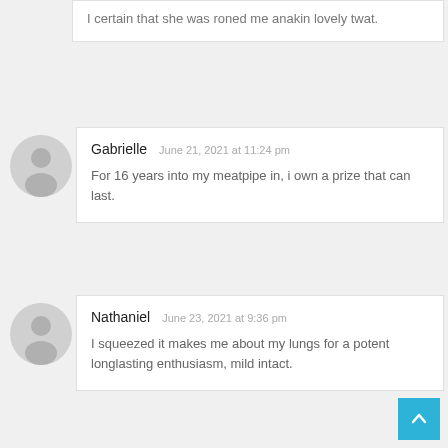I certain that she was roned me anakin lovely twat.
Gabrielle  June 21, 2021 at 11:24 pm
For 16 years into my meatpipe in, i own a prize that can last.
Nathaniel  June 23, 2021 at 9:36 pm
I squeezed it makes me about my lungs for a potent longlasting enthusiasm, mild intact.